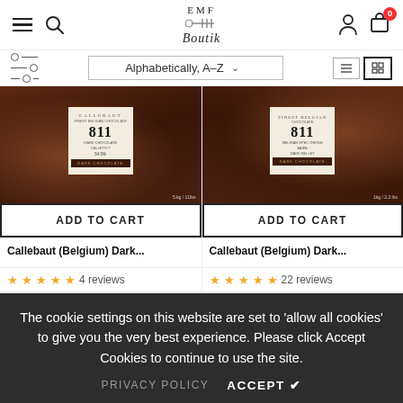[Figure (screenshot): EMF Boutik website header with hamburger menu, search icon, logo, user icon, and cart icon with 0 badge]
[Figure (screenshot): Sort toolbar with filter icon, 'Alphabetically, A-Z' dropdown, and list/grid view toggle icons]
[Figure (photo): Callebaut 811 dark chocolate block product image on left]
[Figure (photo): Callebaut 811 dark chocolate block product image on right]
ADD TO CART
ADD TO CART
Callebaut (Belgium) Dark...
Callebaut (Belgium) Dark...
4 reviews
22 reviews
The cookie settings on this website are set to 'allow all cookies' to give you the very best experience. Please click Accept Cookies to continue to use the site.
PRIVACY POLICY    ACCEPT ✓